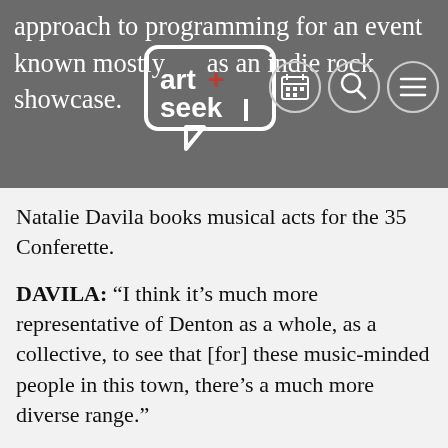approach to programming for an event known mostly as an indie rock showcase.
Natalie Davila books musical acts for the 35 Conferette.
DAVILA: “I think it’s much more representative of Denton as a whole, as a collective, to see that [for] these music-minded people in this town, there’s a much more diverse range.”
More of that music will be heard outside this year. Performers will play afternoon shows on three stages near Denton’s historic courthouse